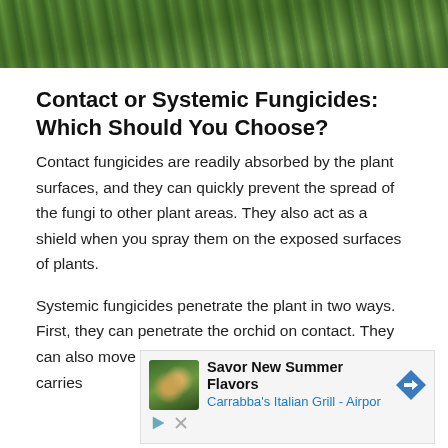[Figure (photo): Close-up photograph of green plant leaves or grass, used as a decorative banner image at the top of the article.]
Contact or Systemic Fungicides: Which Should You Choose?
Contact fungicides are readily absorbed by the plant surfaces, and they can quickly prevent the spread of the fungi to other plant areas. They also act as a shield when you spray them on the exposed surfaces of plants.
Systemic fungicides penetrate the plant in two ways. First, they can penetrate the orchid on contact. They can also move through the phloem and xylem, which carries
[Figure (screenshot): Advertisement banner for Carrabba's Italian Grill - Airport location, showing 'Savor New Summer Flavors' with a food image and navigation arrow icon, along with play and close controls.]